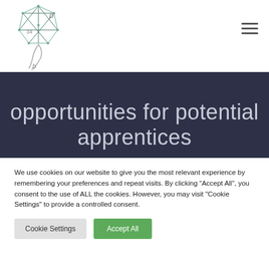[Figure (logo): Abstract geometric logo with letters p, b, and number 34, connected polygon shape above a stylized figure]
opportunities for potential apprentices
We use cookies on our website to give you the most relevant experience by remembering your preferences and repeat visits. By clicking “Accept All”, you consent to the use of ALL the cookies. However, you may visit "Cookie Settings" to provide a controlled consent.